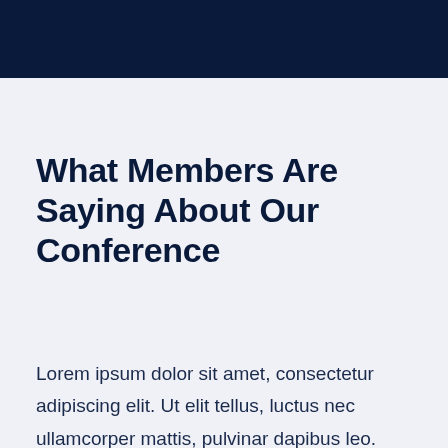What Members Are Saying About Our Conference
Lorem ipsum dolor sit amet, consectetur adipiscing elit. Ut elit tellus, luctus nec ullamcorper mattis, pulvinar dapibus leo.
REGISTRATION